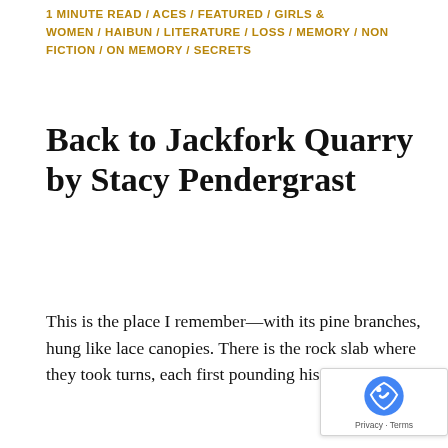1 MINUTE READ / ACES / FEATURED / GIRLS & WOMEN / HAIBUN / LITERATURE / LOSS / MEMORY / NON FICTION / ON MEMORY / SECRETS
Back to Jackfork Quarry by Stacy Pendergrast
This is the place I remember—with its pine branches, hung like lace canopies. There is the rock slab where they took turns, each first pounding his chest, then …
[Figure (illustration): A whimsical illustration showing two green avocado-shaped figures with small human faces, partially visible at the bottom of the page, set against a light background with soft curved lines.]